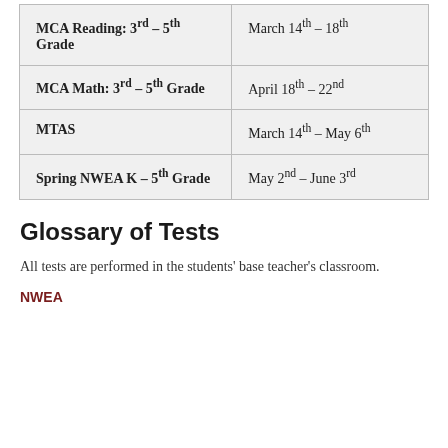| Test | Date |
| --- | --- |
| MCA Reading: 3rd – 5th Grade | March 14th – 18th |
| MCA Math: 3rd – 5th Grade | April 18th – 22nd |
| MTAS | March 14th – May 6th |
| Spring NWEA K – 5th Grade | May 2nd – June 3rd |
Glossary of Tests
All tests are performed in the students' base teacher's classroom.
NWEA